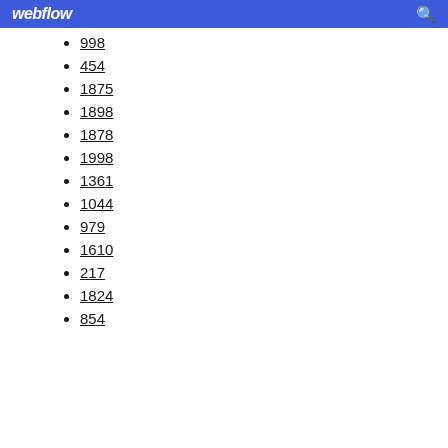webflow
998
454
1875
1898
1878
1998
1361
1044
979
1610
217
1824
854